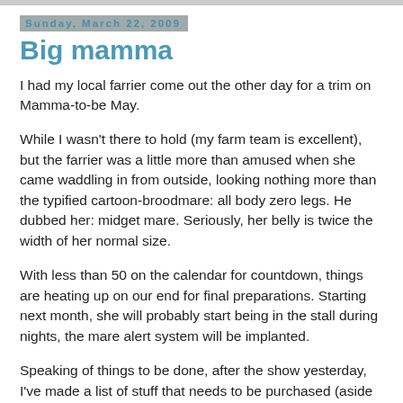Sunday, March 22, 2009
Big mamma
I had my local farrier come out the other day for a trim on Mamma-to-be May.
While I wasn't there to hold (my farm team is excellent), but the farrier was a little more than amused when she came waddling in from outside, looking nothing more than the typified cartoon-broodmare: all body zero legs. He dubbed her: midget mare. Seriously, her belly is twice the width of her normal size.
With less than 50 on the calendar for countdown, things are heating up on our end for final preparations. Starting next month, she will probably start being in the stall during nights, the mare alert system will be implanted.
Speaking of things to be done, after the show yesterday, I've made a list of stuff that needs to be purchased (aside from fixing the car) over the next few weeks to make my life a little